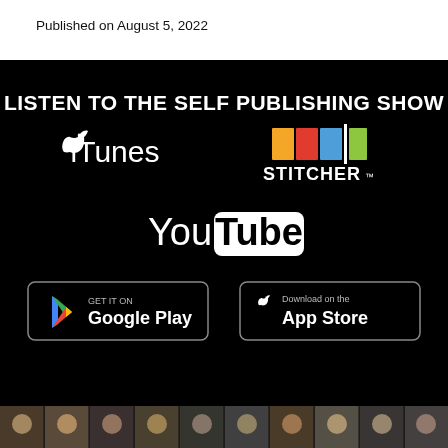Published on August 5, 2022
[Figure (infographic): Black promotional banner reading 'LISTEN TO THE SELF PUBLISHING SHOW' with logos for iTunes, Stitcher, YouTube, Google Play, and App Store]
[Figure (photo): Strip of portrait photos of people at the bottom of the page]